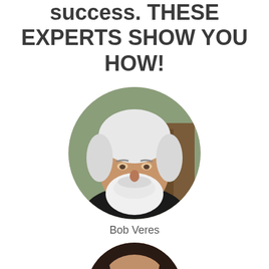success. THESE EXPERTS SHOW YOU HOW!
[Figure (photo): Circular portrait photo of Bob Veres, an older man with white hair and a white beard, wearing a dark turtleneck, seated in front of a wooden background with greenery.]
Bob Veres
[Figure (photo): Circular portrait photo of a woman with dark hair, partially visible at the bottom of the page.]